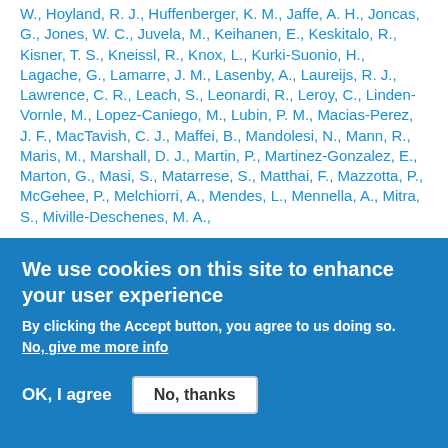W., Hoyland, R. J., Huffenberger, K. M., Jaffe, A. H., Joncas, G., Jones, W. C., Juvela, M., Keihanen, E., Keskitalo, R., Kisner, T. S., Kneissl, R., Knox, L., Kurki-Suonio, H., Lagache, G., Lamarre, J. M., Lasenby, A., Laureijs, R. J., Lawrence, C. R., Leach, S., Leonardi, R., Leroy, C., Linden-Vornle, M., Lopez-Caniego, M., Lubin, P. M., Macias-Perez, J. F., MacTavish, C. J., Maffei, B., Mandolesi, N., Mann, R., Maris, M., Marshall, D. J., Martin, P., Martinez-Gonzalez, E., Marton, G., Masi, S., Matarrese, S., Matthai, F., Mazzotta, P., McGehee, P., Melchiorri, A., Mendes, L., Mennella, A., Mitra, S., Miville-Deschenes, M. A., ...
We use cookies on this site to enhance your user experience

By clicking the Accept button, you agree to us doing so.
No, give me more info

OK, I agree    No, thanks